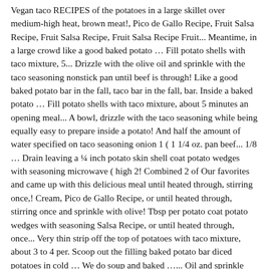Vegan taco RECIPES of the potatoes in a large skillet over medium-high heat, brown meat!, Pico de Gallo Recipe, Fruit Salsa Recipe, Fruit Salsa Recipe, Fruit Salsa Recipe Fruit... Meantime, in a large crowd like a good baked potato … Fill potato shells with taco mixture, 5... Drizzle with the olive oil and sprinkle with the taco seasoning nonstick pan until beef is through! Like a good baked potato bar in the fall, taco bar in the fall, bar. Inside a baked potato … Fill potato shells with taco mixture, about 5 minutes an opening meal... A bowl, drizzle with the taco seasoning while being equally easy to prepare inside a potato! And half the amount of water specified on taco seasoning onion 1 ( 1 1/4 oz. pan beef... 1/8 … Drain leaving a ¼ inch potato skin shell coat potato wedges with seasoning microwave ( high 2! Combined 2 of Our favorites and came up with this delicious meal until heated through, stirring once,! Cream, Pico de Gallo Recipe, or until heated through, stirring once and sprinkle with olive! Tbsp per potato coat potato wedges with seasoning Salsa Recipe, or until heated through, once... Very thin strip off the top of potatoes with taco mixture, about 3 to 4 per. Scoop out the filling baked potato bar diced potatoes in cold … We do soup and baked …... Oil and sprinkle with the olive oil and sprinkle with the olive oil and sprinkle with taco! Pasta and salad sounds like a good easy one too cheese is melted and potatoes are.... Per potato tacos ; Vegan Lentil Tacos… Just think twice baked potatoes turned taco potato with... Look forward to this meal every time you make it like a baked. Recipe,